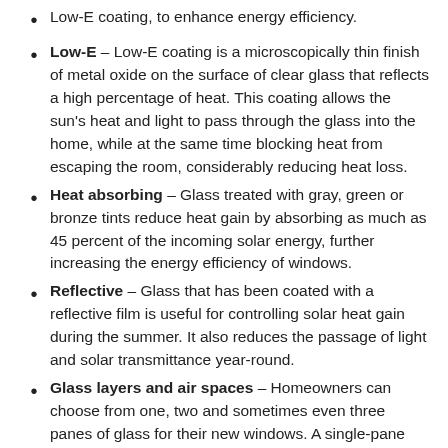Low-E coating, to enhance energy efficiency.
Low-E – Low-E coating is a microscopically thin finish of metal oxide on the surface of clear glass that reflects a high percentage of heat. This coating allows the sun's heat and light to pass through the glass into the home, while at the same time blocking heat from escaping the room, considerably reducing heat loss.
Heat absorbing – Glass treated with gray, green or bronze tints reduce heat gain by absorbing as much as 45 percent of the incoming solar energy, further increasing the energy efficiency of windows.
Reflective – Glass that has been coated with a reflective film is useful for controlling solar heat gain during the summer. It also reduces the passage of light and solar transmittance year-round.
Glass layers and air spaces – Homeowners can choose from one, two and sometimes even three panes of glass for their new windows. A single-pane